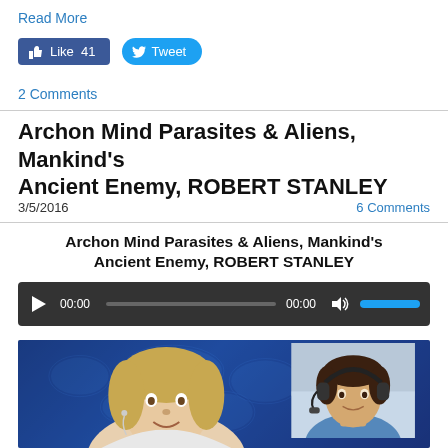Read More
[Figure (screenshot): Facebook Like button showing 41 likes and Twitter Tweet button]
2 Comments
Archon Mind Parasites & Aliens, Mankind's Ancient Enemy, ROBERT STANLEY
3/5/2016   6 Comments
Archon Mind Parasites & Aliens, Mankind's Ancient Enemy, ROBERT STANLEY
[Figure (screenshot): Audio player with play button, time display 00:00, progress bar, and volume control]
[Figure (photo): Two people visible: a young man with blonde hair in foreground against blue world map background, and a man wearing headphones in upper right inset]